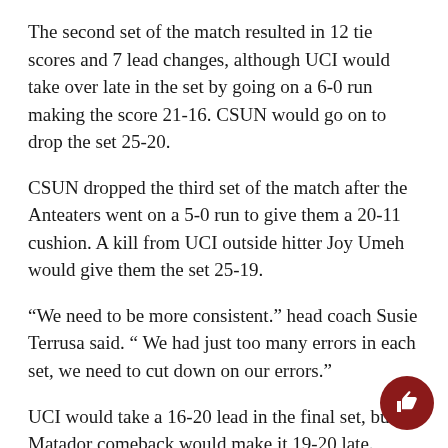The second set of the match resulted in 12 tie scores and 7 lead changes, although UCI would take over late in the set by going on a 6-0 run making the score 21-16. CSUN would go on to drop the set 25-20.
CSUN dropped the third set of the match after the Anteaters went on a 5-0 run to give them a 20-11 cushion. A kill from UCI outside hitter Joy Umeh would give them the set 25-19.
“We need to be more consistent.” head coach Susie Terrusa said. “ We had just too many errors in each set, we need to cut down on our errors.”
UCI would take a 16-20 lead in the final set, but a Matador comeback would make it 19-20 late. Thomas would end up getting a kill after a long rally to bring the Matadors within two points.